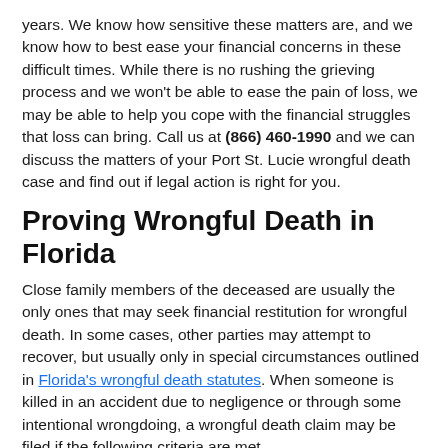years. We know how sensitive these matters are, and we know how to best ease your financial concerns in these difficult times. While there is no rushing the grieving process and we won't be able to ease the pain of loss, we may be able to help you cope with the financial struggles that loss can bring. Call us at (866) 460-1990 and we can discuss the matters of your Port St. Lucie wrongful death case and find out if legal action is right for you.
Proving Wrongful Death in Florida
Close family members of the deceased are usually the only ones that may seek financial restitution for wrongful death. In some cases, other parties may attempt to recover, but usually only in special circumstances outlined in Florida's wrongful death statutes. When someone is killed in an accident due to negligence or through some intentional wrongdoing, a wrongful death claim may be filed if the following criteria are met.
Breach of Duty